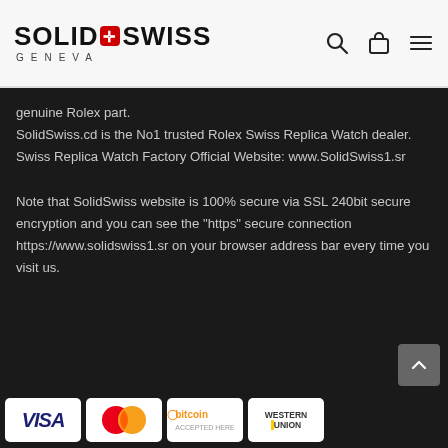SOLID SWISS GENEVA — navigation header with search, bag, and menu icons
genuine Rolex part.
SolidSwiss.cd is the No1 trusted Rolex Swiss Replica Watch dealer.
Swiss Replica Watch Factory Official Website: www.SolidSwiss1.sr

Note that SolidSwiss website is 100% secure via SSL 240bit secure encryption and you can see the “https” secure connection https://www.solidswiss1.sr on your browser address bar every time you visit us.
[Figure (logo): Payment method logos: VISA, MasterCard, Bitcoin, Western Union]